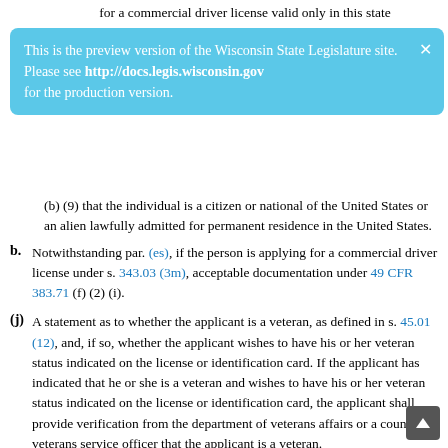for a commercial driver license valid only in this state
[Figure (screenshot): Light blue tooltip/banner overlay: 'This is the preview version of the Wisconsin State Legislature site. Please see http://docs.legis.wisconsin.gov for the production version.' with an X close button.]
(b) (9) that the individual is a citizen or national of the United States or an alien lawfully admitted for permanent residence in the United States.
b. Notwithstanding par. (es), if the person is applying for a commercial driver license under s. 343.03 (3m), acceptable documentation under 49 CFR 383.71 (f) (2) (i).
(j) A statement as to whether the applicant is a veteran, as defined in s. 45.01 (12), and, if so, whether the applicant wishes to have his or her veteran status indicated on the license or identification card. If the applicant has indicated that he or she is a veteran and wishes to have his or her veteran status indicated on the license or identification card, the applicant shall provide verification from the department of veterans affairs or a county veterans service officer that the applicant is a veteran.
(k) A statement that a form on which the applicant may indicate to law enforcement officers the existence of an invisible disability is available on the department's Internet site a